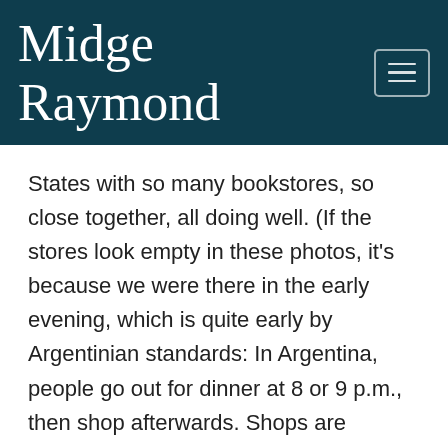Midge Raymond
States with so many bookstores, so close together, all doing well. (If the stores look empty in these photos, it's because we were there in the early evening, which is quite early by Argentinian standards: In Argentina, people go out for dinner at 8 or 9 p.m., then shop afterwards. Shops are usually open until at least midnight.)